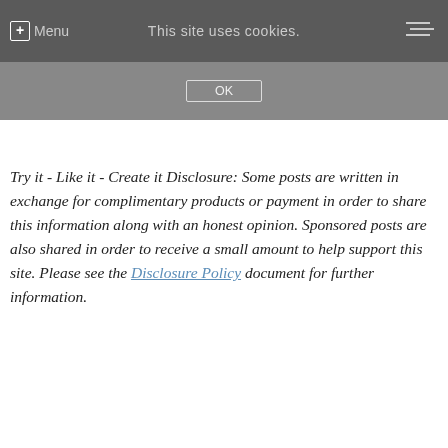Menu | This site uses cookies. | OK
Try it - Like it - Create it Disclosure: Some posts are written in exchange for complimentary products or payment in order to share this information along with an honest opinion. Sponsored posts are also shared in order to receive a small amount to help support this site. Please see the Disclosure Policy document for further information.